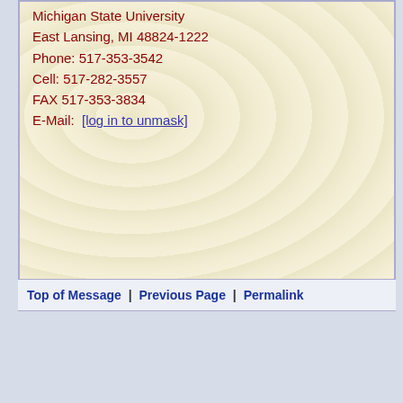Michigan State University
East Lansing, MI 48824-1222
Phone: 517-353-3542
Cell: 517-282-3557
FAX 517-353-3834
E-Mail: [log in to unmask]
Top of Message | Previous Page | Permalink